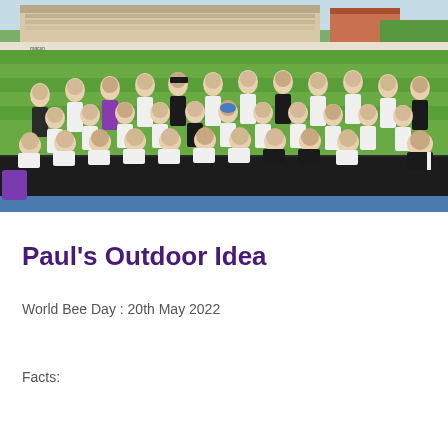[Figure (photo): Group photo of school children in white and black sports kit, seated and standing on a sports field/athletics track, with a rugby stadium grandstand visible in the background. Children are arranged in 3 rows on dark rubber athletics track surface.]
Paul’s Outdoor Idea
World Bee Day : 20th May 2022
Facts: